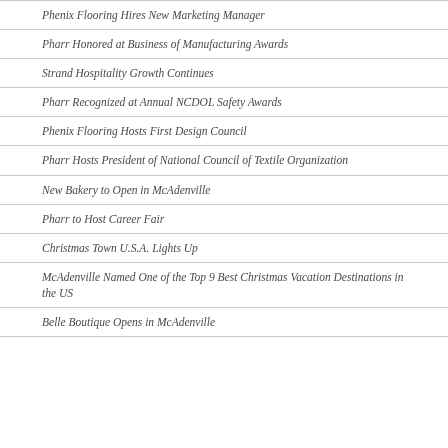Phenix Flooring Hires New Marketing Manager
Pharr Honored at Business of Manufacturing Awards
Strand Hospitality Growth Continues
Pharr Recognized at Annual NCDOL Safety Awards
Phenix Flooring Hosts First Design Council
Pharr Hosts President of National Council of Textile Organization
New Bakery to Open in McAdenville
Pharr to Host Career Fair
Christmas Town U.S.A. Lights Up
McAdenville Named One of the Top 9 Best Christmas Vacation Destinations in the US
Belle Boutique Opens in McAdenville